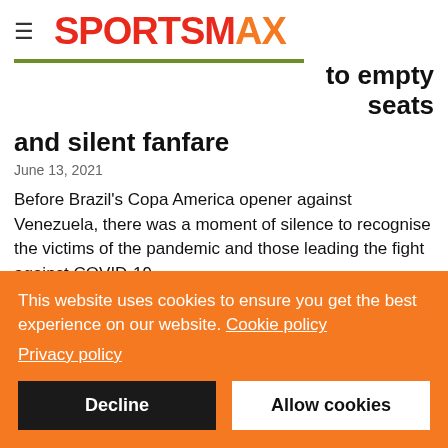≡ SPORTSMAX
to empty seats and silent fanfare
June 13, 2021
Before Brazil's Copa America opener against Venezuela, there was a moment of silence to recognise the victims of the pandemic and those leading the fight against COVID-19.
It was a poignant scene. Somehow, it was made more powerful by the fact...
This website uses cookies to ensure you get the best experience on our website. Cookie policy Privacy policy
Decline | Allow cookies